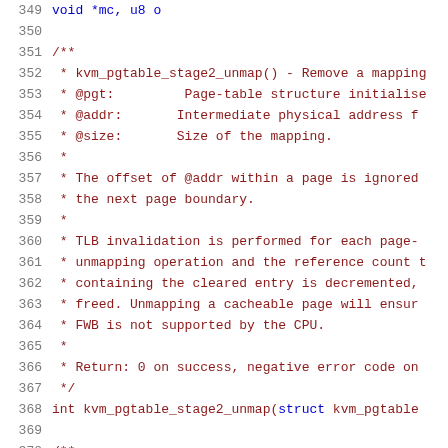Source code listing, lines 349-370, showing kvm_pgtable_stage2_unmap() kernel documentation comment and function declaration.